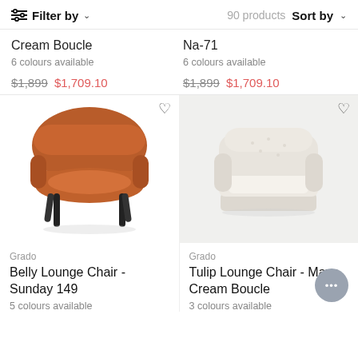Filter by  |  90 products  |  Sort by
Cream Boucle
6 colours available
$1,899  $1,709.10
Na-71
6 colours available
$1,899  $1,709.10
[Figure (photo): Belly Lounge Chair in terracotta/rust orange fabric with black metal legs]
[Figure (photo): Tulip Lounge Chair in cream boucle fabric, wide armchair with integrated base]
Grado
Belly Lounge Chair - Sunday 149
5 colours available
Grado
Tulip Lounge Chair - Maya Cream Boucle
3 colours available